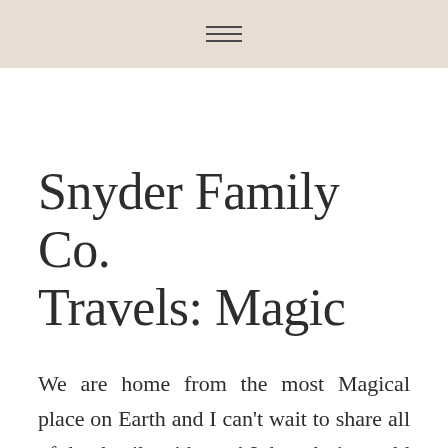≡
Snyder Family Co. Travels: Magic
We are home from the most Magical place on Earth and I can't wait to share all of the details with you! I thought it would be best to jump